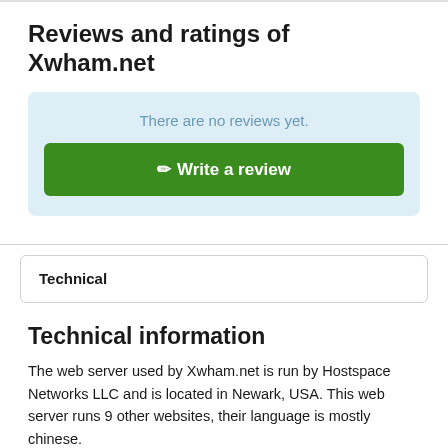Reviews and ratings of Xwham.net
There are no reviews yet.
Write a review
Technical
Technical information
The web server used by Xwham.net is run by Hostspace Networks LLC and is located in Newark, USA. This web server runs 9 other websites, their language is mostly chinese.
The websites of Xwham.net are served by a Apache web server using the operating system Cent OS (Linux). The software used to